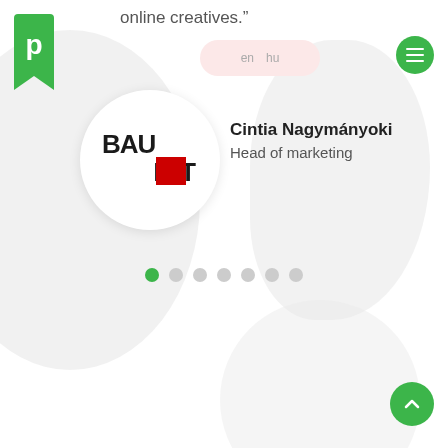online creatives."
[Figure (logo): Green rectangular logo with letter p cutout, top-left corner]
[Figure (logo): Language switcher showing 'en' and 'hu' options on pink/red background]
[Figure (logo): Green circular hamburger menu button top-right]
[Figure (logo): Baumit company logo in white circle - black text 'Bau' and 'mit' with red square]
Cintia Nagymányoki
Head of marketing
[Figure (other): Pagination dots: 7 dots, first one green (active), rest grey]
[Figure (logo): Green circular back-to-top chevron button, bottom-right]